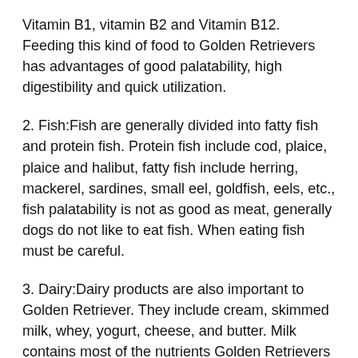Vitamin B1, vitamin B2 and Vitamin B12. Feeding this kind of food to Golden Retrievers has advantages of good palatability, high digestibility and quick utilization.
2. Fish:Fish are generally divided into fatty fish and protein fish. Protein fish include cod, plaice, plaice and halibut, fatty fish include herring, mackerel, sardines, small eel, goldfish, eels, etc., fish palatability is not as good as meat, generally dogs do not like to eat fish. When eating fish must be careful.
3. Dairy:Dairy products are also important to Golden Retriever. They include cream, skimmed milk, whey, yogurt, cheese, and butter. Milk contains most of the nutrients Golden Retrievers need, but iron and vitamin D are deficient. Dairy products are good at palatability, and generally all dogs, regardless of breed, prefer to drink milk.